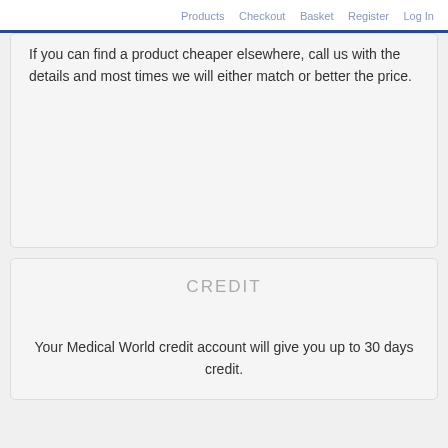Products  Checkout  Basket  Register  Log In
If you can find a product cheaper elsewhere, call us with the details and most times we will either match or better the price.
CREDIT
Your Medical World credit account will give you up to 30 days credit.